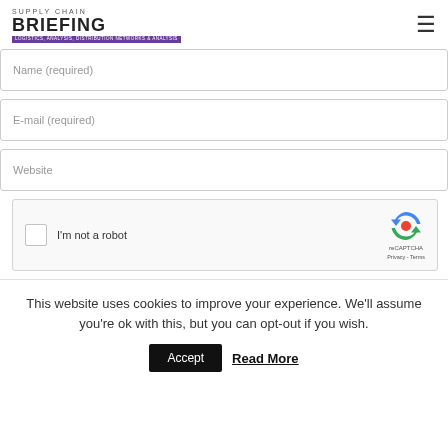Supply Chain Briefing
Name (required)
E-mail (required)
Website
[Figure (other): reCAPTCHA widget with checkbox and 'I'm not a robot' label, with reCAPTCHA logo, Privacy and Terms links]
This website uses cookies to improve your experience. We'll assume you're ok with this, but you can opt-out if you wish.
Accept    Read More